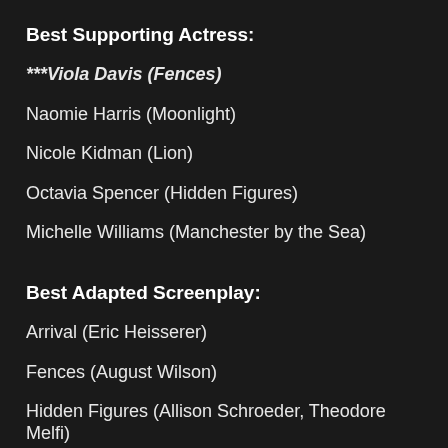Best Supporting Actress:
***Viola Davis (Fences)
Naomie Harris (Moonlight)
Nicole Kidman (Lion)
Octavia Spencer (Hidden Figures)
Michelle Williams (Manchester by the Sea)
Best Adapted Screenplay:
Arrival (Eric Heisserer)
Fences (August Wilson)
Hidden Figures (Allison Schroeder, Theodore Melfi)